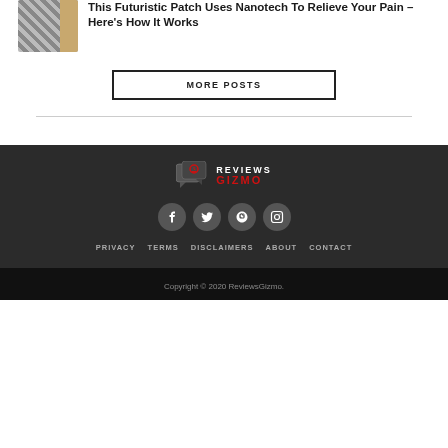[Figure (photo): Thumbnail image of a patch product with geometric pattern texture and a tan/beige side strip]
This Futuristic Patch Uses Nanotech To Relieve Your Pain – Here's How It Works
MORE POSTS
[Figure (logo): ReviewsGizmo logo with chat bubble icon, heart symbol, white text REVIEWS and red text GIZMO]
[Figure (infographic): Social media icons: Facebook, Twitter, Pinterest, Instagram in dark circular buttons]
PRIVACY   TERMS   DISCLAIMERS   ABOUT   CONTACT
Copyright © 2020 ReviewsGizmo.